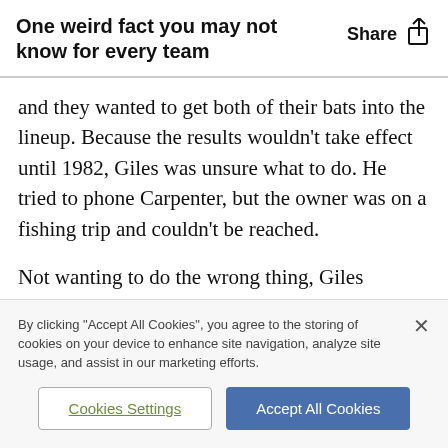One weird fact you may not know for every team
and they wanted to get both of their bats into the lineup. Because the results wouldn't take effect until 1982, Giles was unsure what to do. He tried to phone Carpenter, but the owner was on a fishing trip and couldn't be reached.
Not wanting to do the wrong thing, Giles abstained from the vote. That meant Pirates GM Harding
By clicking "Accept All Cookies", you agree to the storing of cookies on your device to enhance site navigation, analyze site usage, and assist in our marketing efforts.